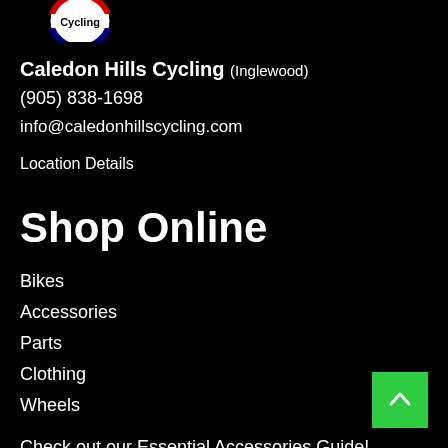[Figure (logo): Caledon Hills Cycling logo — partial view showing circular logo with red/blue border and 'Cycling' text on white background]
Caledon Hills Cycling (Inglewood)
(905) 838-1698
info@caledonhillscycling.com
Location Details
Shop Online
Bikes
Accessories
Parts
Clothing
Wheels
Check out our Essential Accessories Guide!